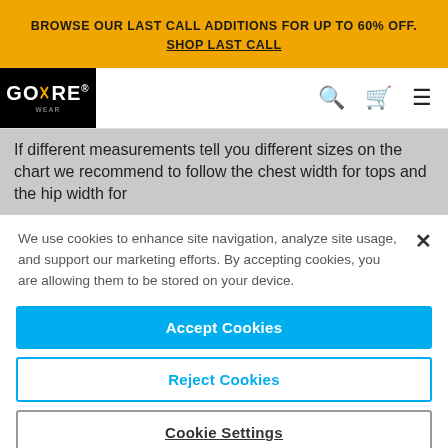BROWSE OUR LAST CALL ADDITIONS FOR UP TO 60% OFF. SHOP LAST CALL
[Figure (logo): GORE WEAR logo, white text on black background]
If different measurements tell you different sizes on the chart we recommend to follow the chest width for tops and the hip width for
We use cookies to enhance site navigation, analyze site usage, and support our marketing efforts. By accepting cookies, you are allowing them to be stored on your device.
Accept Cookies
Reject Cookies
Cookie Settings